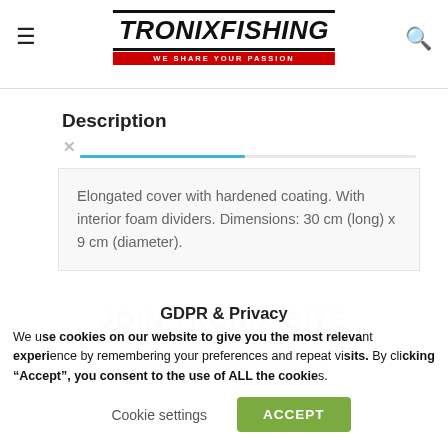TRONIXFISHING WE SHARE YOUR PASSION
Description
Elongated cover with hardened coating. With interior foam dividers. Dimensions: 30 cm (long) x 9 cm (diameter).
JOIN TRONIX BITE
Sign up to receive news of our latest product releases, latest articles from our prostaff, exclusive competitions and top tips on sea and lure fishing
GDPR & Privacy
We use cookies on our website to give you the most relevant experience by remembering your preferences and repeat visits. By clicking “Accept”, you consent to the use of ALL the cookies.
Cookie settings
ACCEPT